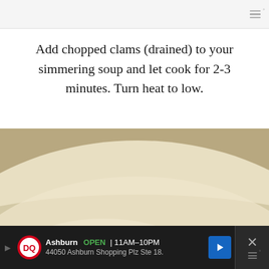Add chopped clams (drained) to your simmering soup and let cook for 2-3 minutes. Turn heat to low.
[Figure (photo): A bowl of white creamy clam chowder soup garnished with chopped green herbs (parsley) and black pepper, viewed from above.]
Add chopped parsley and salt and pepper.
Ashburn OPEN | 11AM-10PM  44050 Ashburn Shopping Plz Ste 18.